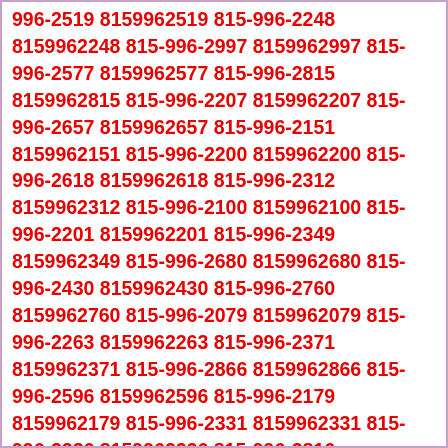996-2519 8159962519 815-996-2248 8159962248 815-996-2997 8159962997 815-996-2577 8159962577 815-996-2815 8159962815 815-996-2207 8159962207 815-996-2657 8159962657 815-996-2151 8159962151 815-996-2200 8159962200 815-996-2618 8159962618 815-996-2312 8159962312 815-996-2100 8159962100 815-996-2201 8159962201 815-996-2349 8159962349 815-996-2680 8159962680 815-996-2430 8159962430 815-996-2760 8159962760 815-996-2079 8159962079 815-996-2263 8159962263 815-996-2371 8159962371 815-996-2866 8159962866 815-996-2596 8159962596 815-996-2179 8159962179 815-996-2331 8159962331 815-996-2226 8159962226 815-996-2816 8159962816 815-996-2737 8159962737 815-996-2327 8159962327 815-996-2184 8159962184 815-996-2460 8159962460 815-996-2982 8159962982 815-996-2068 8159962068 815-996-2053 8159962053 815-996-2076 8159962076 815-996-2316